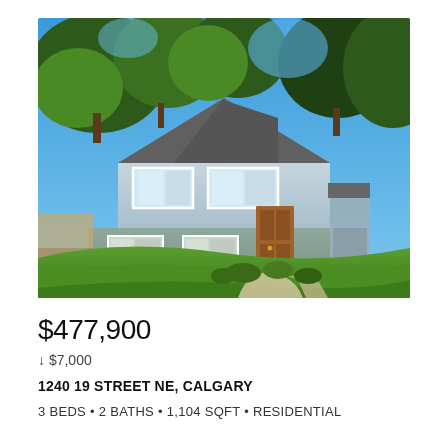[Figure (photo): Exterior photo of a two-story residential home with light blue/grey siding, brown front door, large green lawn, trees, and a concrete walkway leading to the entrance. Sunny summer day.]
$477,900
↓ $7,000
1240 19 STREET NE, CALGARY
3 BEDS • 2 BATHS • 1,104 SQFT • RESIDENTIAL